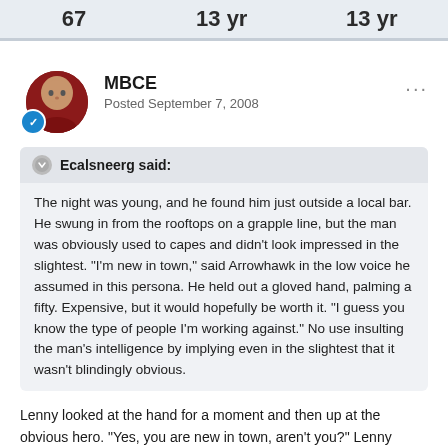67   13 yr   13 yr
MBCE
Posted September 7, 2008
Ecalsneerg said:
The night was young, and he found him just outside a local bar. He swung in from the rooftops on a grapple line, but the man was obviously used to capes and didn't look impressed in the slightest. "I'm new in town," said Arrowhawk in the low voice he assumed in this persona. He held out a gloved hand, palming a fifty. Expensive, but it would hopefully be worth it. "I guess you know the type of people I'm working against." No use insulting the man's intelligence by implying even in the slightest that it wasn't blindingly obvious.
Lenny looked at the hand for a moment and then up at the obvious hero. "Yes, you are new in town, aren't you?" Lenny